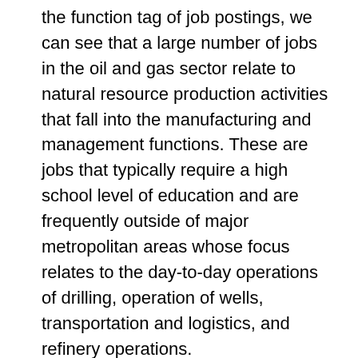the function tag of job postings, we can see that a large number of jobs in the oil and gas sector relate to natural resource production activities that fall into the manufacturing and management functions. These are jobs that typically require a high school level of education and are frequently outside of major metropolitan areas whose focus relates to the day-to-day operations of drilling, operation of wells, transportation and logistics, and refinery operations.
In turn, these jobs do not exist in the same quantity in the renewables and environment sector, where a higher proportion of the job functions are desk jobs that require undergraduate and graduate-level education. Although there